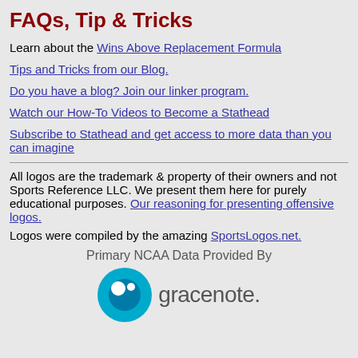FAQs, Tip & Tricks
Learn about the Wins Above Replacement Formula
Tips and Tricks from our Blog.
Do you have a blog? Join our linker program.
Watch our How-To Videos to Become a Stathead
Subscribe to Stathead and get access to more data than you can imagine
All logos are the trademark & property of their owners and not Sports Reference LLC. We present them here for purely educational purposes. Our reasoning for presenting offensive logos.
Logos were compiled by the amazing SportsLogos.net.
Primary NCAA Data Provided By
[Figure (logo): Gracenote logo with teal circle icon and 'gracenote.' text]